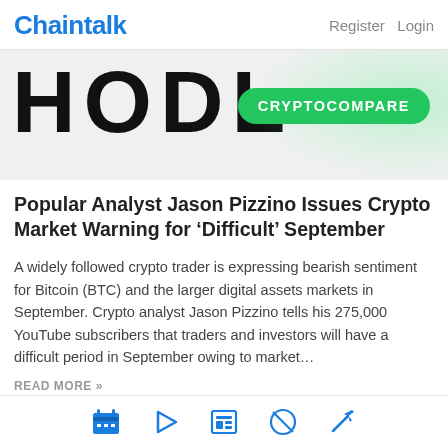Chaintalk   Register   Login
[Figure (illustration): Partial 'HODL' text image with a green rounded badge reading 'CRYPTOCOMPARE' overlaid on the right side]
Popular Analyst Jason Pizzino Issues Crypto Market Warning for ‘Difficult’ September
A widely followed crypto trader is expressing bearish sentiment for Bitcoin (BTC) and the larger digital assets markets in September. Crypto analyst Jason Pizzino tells his 275,000 YouTube subscribers that traders and investors will have a difficult period in September owing to market…
READ MORE »
Navigation icons: calendar, play, newspaper, compass, pickaxe